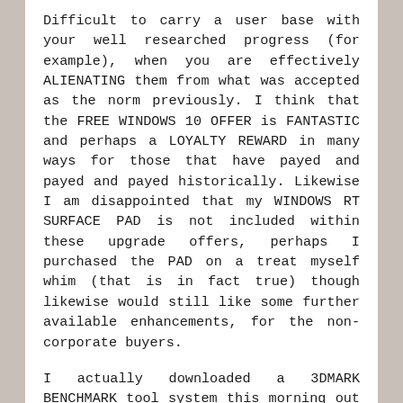Difficult to carry a user base with your well researched progress (for example), when you are effectively ALIENATING them from what was accepted as the norm previously. I think that the FREE WINDOWS 10 OFFER is FANTASTIC and perhaps a LOYALTY REWARD in many ways for those that have payed and payed and payed historically. Likewise I am disappointed that my WINDOWS RT SURFACE PAD is not included within these upgrade offers, perhaps I purchased the PAD on a treat myself whim (that is in fact true) though likewise would still like some further available enhancements, for the non-corporate buyers.
I actually downloaded a 3DMARK BENCHMARK tool system this morning out of CURIOSITY and found that my BENCHMARK RESULTS for the RT were actually superior to those officially given or previously recorded by other users within the database. I have perhaps already mentioned that I took a PURIST APPROACH to the PAD in not